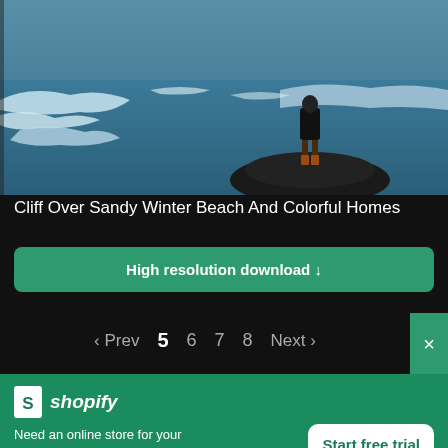[Figure (photo): A person standing on a dark rocky cliff or rock formation overlooking a sandy winter beach with icy/snowy water and colorful homes in the distance. Blue-teal tones.]
Cliff Over Sandy Winter Beach And Colorful Homes
High resolution download ↓
‹ Prev  5  6  7  8  Next ›
[Figure (logo): Shopify logo — shopping bag icon with an S, followed by italic text 'shopify']
Need an online store for your business?
Start free trial